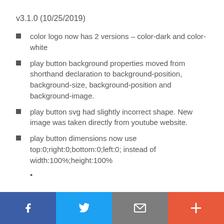v3.1.0 (10/25/2019)
color logo now has 2 versions – color-dark and color-white
play button background properties moved from shorthand declaration to background-position, background-size, background-position and background-image.
play button svg had slightly incorrect shape. New image was taken directly from youtube website.
play button dimensions now use top:0;right:0;bottom:0;left:0; instead of width:100%;height:100%
Social share buttons: Facebook, Twitter, Email, Plus